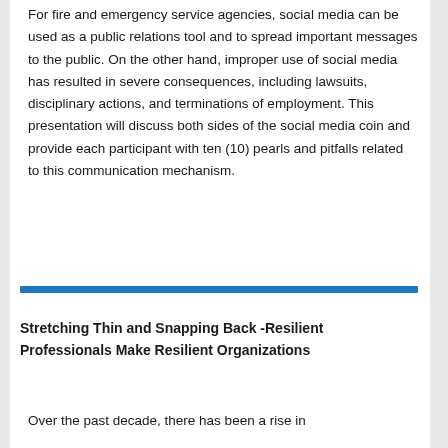For fire and emergency service agencies, social media can be used as a public relations tool and to spread important messages to the public. On the other hand, improper use of social media has resulted in severe consequences, including lawsuits, disciplinary actions, and terminations of employment. This presentation will discuss both sides of the social media coin and provide each participant with ten (10) pearls and pitfalls related to this communication mechanism.
Stretching Thin and Snapping Back -Resilient Professionals Make Resilient Organizations
Over the past decade, there has been a rise in